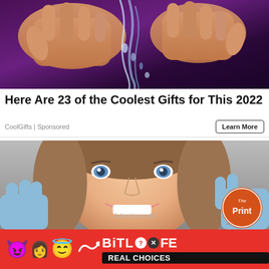[Figure (photo): Close-up photo of hands holding water or crystal, purple/dark background]
Here Are 23 of the Coolest Gifts for This 2022
CoolGifts | Sponsored
Learn More
[Figure (photo): Young woman smiling at camera at dentist, blue gloved hands visible, The Print logo badge in corner]
Advertisement
[Figure (advertisement): BitLife app advertisement banner with emoji characters (devil, woman, angel) and text BITLIFE REAL CHOICES on red background]